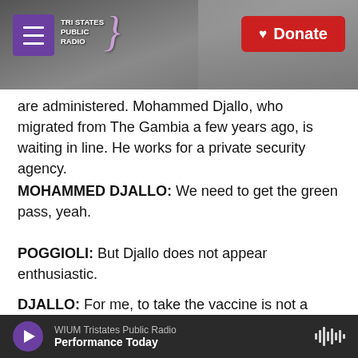[Figure (screenshot): Tri States Public Radio website header with hamburger menu, logo, and background photo of radio tower in grayscale]
are administered. Mohammed Djallo, who migrated from The Gambia a few years ago, is waiting in line. He works for a private security agency.
MOHAMMED DJALLO: We need to get the green pass, yeah.
POGGIOLI: But Djallo does not appear enthusiastic.
DJALLO: For me, to take the vaccine is not a good idea. But I don't know.
POGGIOLI: Why? You worried about the vaccine?
WIUM Tristates Public Radio | Performance Today